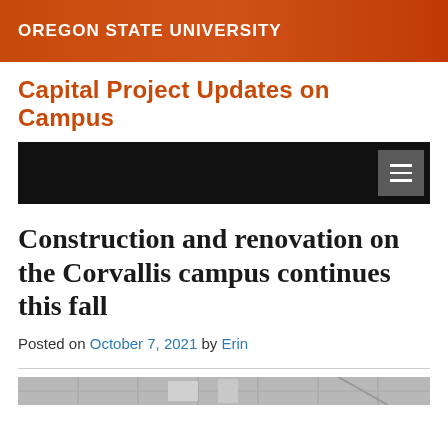OREGON STATE UNIVERSITY
Capital Project Updates on Campus
[Figure (screenshot): Navigation bar with black background and hamburger menu icon on right side]
Construction and renovation on the Corvallis campus continues this fall
Posted on October 7, 2021 by Erin
[Figure (map): Partial map image showing campus area streets in gray tones]